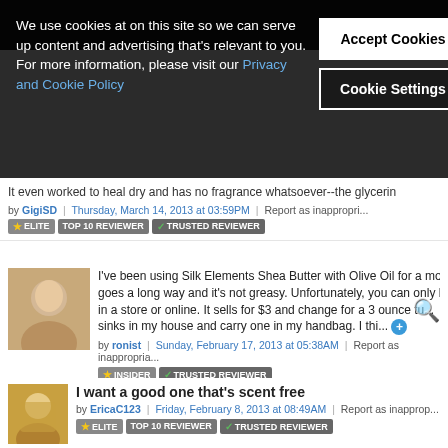We use cookies at on this site so we can serve up content and advertising that's relevant to you. For more information, please visit our Privacy and Cookie Policy
Accept Cookies
Cookie Settings
It even worked to heal dry and has no fragrance whatsoever--the glycerin
by GigiSD | Thursday, March 14, 2013 at 03:59PM | Report as inappropri...
I've been using Silk Elements Shea Butter with Olive Oil for a mon... goes a long way and it's not greasy. Unfortunately, you can only b... in a store or online. It sells for $3 and change for a 3 ounce tu... sinks in my house and carry one in my handbag. I thi...
by ronist | Sunday, February 17, 2013 at 05:38AM | Report as inappropria...
I want a good one that's scent free
by EricaC123 | Friday, February 8, 2013 at 08:49AM | Report as inapprop...
The Neutrogena one is great! Strong enough to use on elbows and...
by Shringar | Friday, February 8, 2013 at 08:08AM | Report as inapprop...
The l'occitane hand cream is amazing. I am a fan of the lavender s...